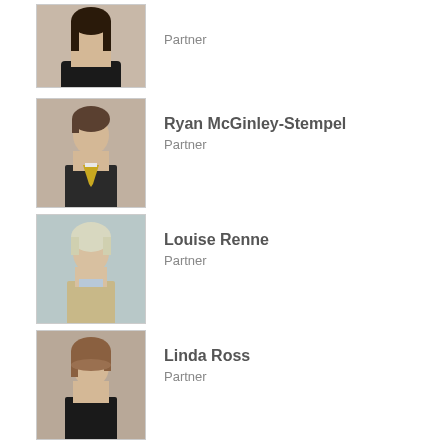[Figure (photo): Professional headshot of a woman with long dark hair wearing a black outfit]
Partner
[Figure (photo): Professional headshot of Ryan McGinley-Stempel, a man in a dark suit with a gold tie]
Ryan McGinley-Stempel
Partner
[Figure (photo): Professional headshot of Louise Renne, an older woman with short blonde/grey hair]
Louise Renne
Partner
[Figure (photo): Professional headshot of Linda Ross, a woman with shoulder-length brown hair wearing a black outfit]
Linda Ross
Partner